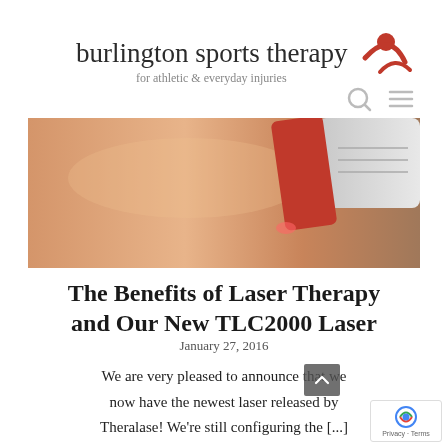[Figure (logo): Burlington Sports Therapy logo with text 'burlington sports therapy' and tagline 'for athletic & everyday injuries', with a red stylized figure icon on the right]
[Figure (photo): Close-up photo of a red laser therapy device being applied to skin, with the device housing visible on the right side]
The Benefits of Laser Therapy and Our New TLC2000 Laser
January 27, 2016
We are very pleased to announce that we now have the newest laser released by Theralase! We're still configuring the [...]